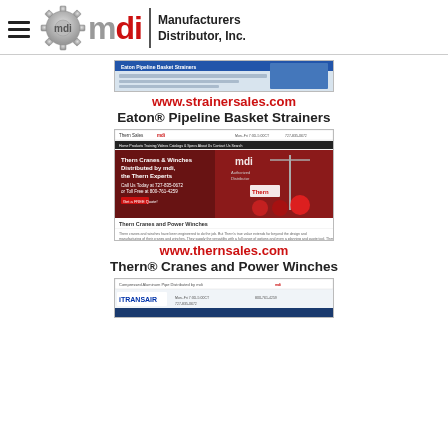MDI — Manufacturers Distributor, Inc.
[Figure (screenshot): Eaton Pipeline Basket Strainers website screenshot from strainersales.com]
www.strainersales.com
Eaton® Pipeline Basket Strainers
[Figure (screenshot): Thern Cranes and Power Winches website screenshot from thernsales.com, showing mdi branding and Thern crane equipment]
www.thernsales.com
Thern® Cranes and Power Winches
[Figure (screenshot): TransAir website screenshot (partial, bottom of page)]